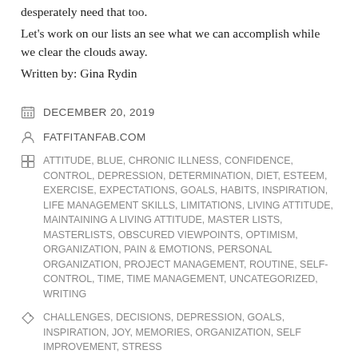desperately need that too.
Let's work on our lists an see what we can accomplish while we clear the clouds away.
Written by: Gina Rydin
DECEMBER 20, 2019
FATFITANFAB.COM
ATTITUDE, BLUE, CHRONIC ILLNESS, CONFIDENCE, CONTROL, DEPRESSION, DETERMINATION, DIET, ESTEEM, EXERCISE, EXPECTATIONS, GOALS, HABITS, INSPIRATION, LIFE MANAGEMENT SKILLS, LIMITATIONS, LIVING ATTITUDE, MAINTAINING A LIVING ATTITUDE, MASTER LISTS, MASTERLISTS, OBSCURED VIEWPOINTS, OPTIMISM, ORGANIZATION, PAIN & EMOTIONS, PERSONAL ORGANIZATION, PROJECT MANAGEMENT, ROUTINE, SELF-CONTROL, TIME, TIME MANAGEMENT, UNCATEGORIZED, WRITING
CHALLENGES, DECISIONS, DEPRESSION, GOALS, INSPIRATION, JOY, MEMORIES, ORGANIZATION, SELF IMPROVEMENT, STRESS
5 COMMENTS